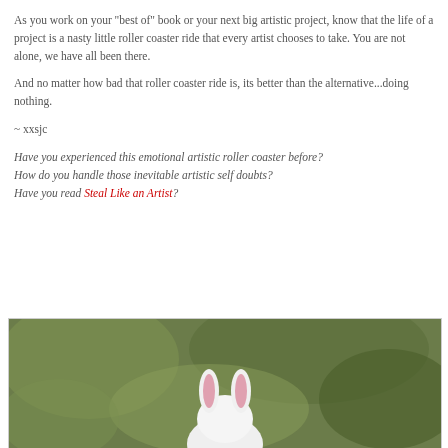As you work on your "best of" book or your next big artistic project, know that the life of a project is a nasty little roller coaster ride that every artist chooses to take. You are not alone, we have all been there.
And no matter how bad that roller coaster ride is, its better than the alternative...doing nothing.
~ xxsjc
Have you experienced this emotional artistic roller coaster before?
How do you handle those inevitable artistic self doubts?
Have you read Steal Like an Artist?
[Figure (photo): Photo of a white toy bunny figurine with pink inner ears, viewed from behind, with a blurred green outdoor background]